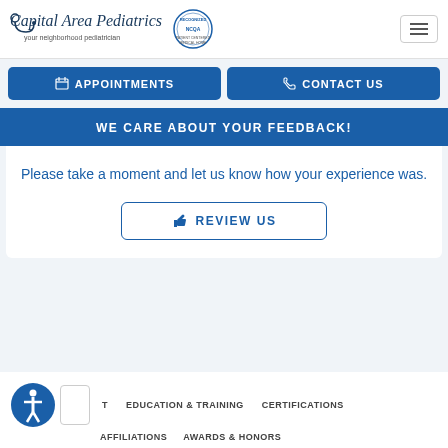Capital Area Pediatrics - your neighborhood pediatrician
APPOINTMENTS
CONTACT US
WE CARE ABOUT YOUR FEEDBACK!
Please take a moment and let us know how your experience was.
REVIEW US
EDUCATION & TRAINING   CERTIFICATIONS   AFFILIATIONS   AWARDS & HONORS